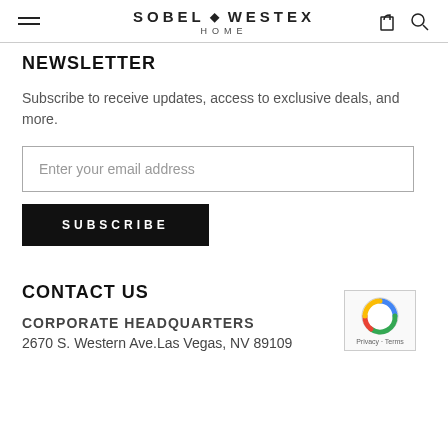SOBEL WESTEX HOME
NEWSLETTER
Subscribe to receive updates, access to exclusive deals, and more.
CONTACT US
CORPORATE HEADQUARTERS
2670 S. Western Ave.Las Vegas, NV 89109